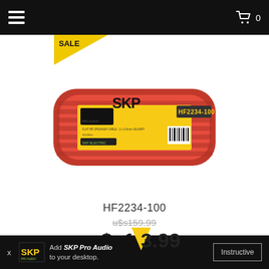Navigation bar with hamburger menu and cart icon (0 items)
[Figure (photo): SKP Pro Audio product HF2234-100 flat speaker cable coil, red/orange colored cable wound in a rectangular spool with yellow label showing SKP logo and product code HF2234-100, with barcode visible]
SALE
HF2234-100
u$s159.99 (original price, strikethrough)
u$s143.99 (sale price)
X  SKP  Add SKP Pro Audio to your desktop.  Instructive